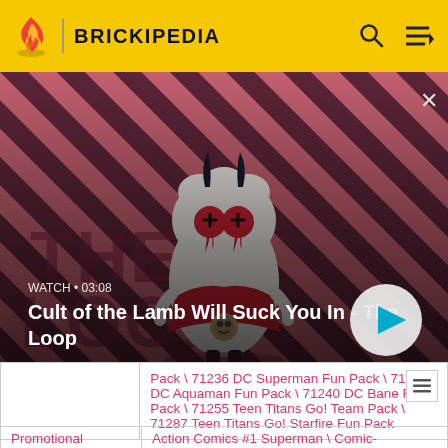BRICKIPEDIA
[Figure (screenshot): Video thumbnail showing Cult of the Lamb character (white fluffy creature with red eyes and horns) against a red and dark purple diagonal stripe background with 'THE LOOP' text]
WATCH • 03:08
Cult of the Lamb Will Suck You In - The Loop
|  | Pack \ 71236 DC Superman Fun Pack \ 71237 DC Aquaman Fun Pack \ 71240 DC Bane Fun Pack \ 71255 Teen Titans Go! Team Pack \ 71287 Teen Titans Go! Starfire Fun Pack |
| Promotional | Action Comics #1 Superman \ Comic- |